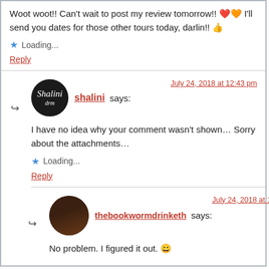Woot woot!! Can't wait to post my review tomorrow!! ❤️ I'll send you dates for those other tours today, darlin!! 👍
★ Loading...
Reply
shalini says: — July 24, 2018 at 12:43 pm
I have no idea why your comment wasn't shown… Sorry about the attachments…
★ Loading...
Reply
thebookwormdrinketh says: — July 24, 2018 at 12:56 pm
No problem. I figured it out. 😀